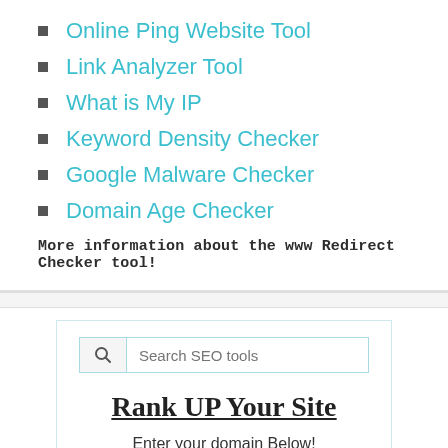Online Ping Website Tool
Link Analyzer Tool
What is My IP
Keyword Density Checker
Google Malware Checker
Domain Age Checker
More information about the www Redirect Checker tool!
Search SEO tools
Rank UP Your Site
Enter your domain Below!